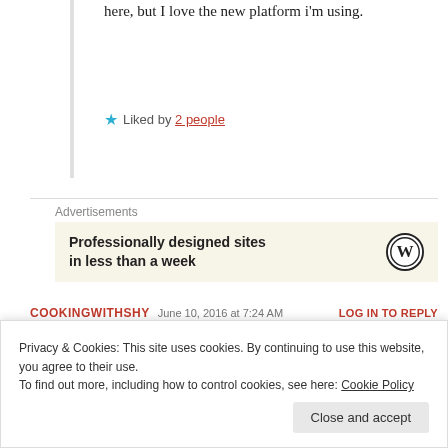here, but I love the new platform i'm using.
★ Liked by 2 people
Advertisements
[Figure (other): WordPress advertisement banner: 'Professionally designed sites in less than a week' with WordPress logo]
COOKINGWITHSHY   June 10, 2016 at 7:24 AM   LOG IN TO REPLY
Privacy & Cookies: This site uses cookies. By continuing to use this website, you agree to their use.
To find out more, including how to control cookies, see here: Cookie Policy
Close and accept